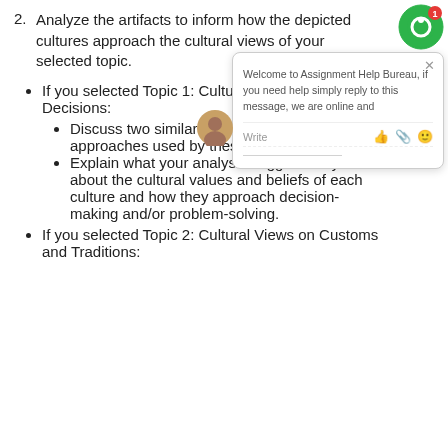2. Analyze the artifacts to inform how the depicted cultures approach the cultural views of your selected topic.
If you selected Topic 1: Cultural Views on Making Decisions:
Discuss two similarities and two differences in approaches used by these cultures.
Explain what your analysis suggests to you about the cultural values and beliefs of each culture and how they approach decision-making and/or problem-solving.
If you selected Topic 2: Cultural Views on Customs and Traditions:
[Figure (screenshot): Chat widget from Assignment Help Bureau with a welcome message and a user avatar at bottom left. Green circular icon with notification badge at top right.]